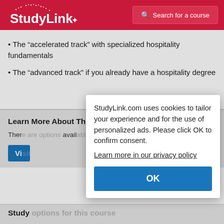StudyLink — Search for a course
The “accelerated track” with specialized hospitality fundamentals
The “advanced track” if you already have a hospitality degree
Learn More About This Course
There [are options] avail[able] [...]
StudyLink.com uses cookies to tailor your experience and for the use of personalized ads. Please click OK to confirm consent.
Learn more in our privacy policy
OK
Study options for this course